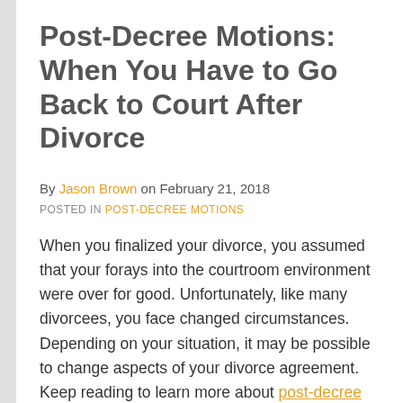Post-Decree Motions: When You Have to Go Back to Court After Divorce
By Jason Brown on February 21, 2018
POSTED IN POST-DECREE MOTIONS
When you finalized your divorce, you assumed that your forays into the courtroom environment were over for good. Unfortunately, like many divorcees, you face changed circumstances. Depending on your situation, it may be possible to change aspects of your divorce agreement. Keep reading to learn more about post-decree options in…